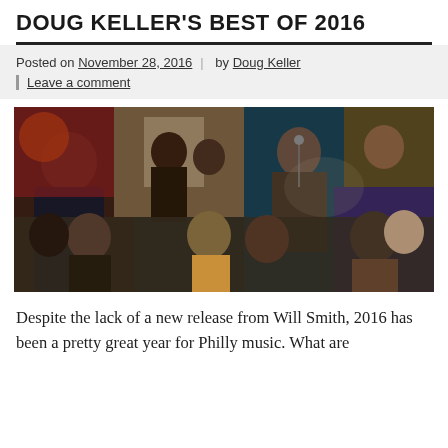DOUG KELLER'S BEST OF 2016
Posted on November 28, 2016 | by Doug Keller | Leave a comment
[Figure (photo): A collage of musicians performing live in various settings — multiple overlapping photos showing bands, singers with microphones, guitarists, and performers on stage.]
Despite the lack of a new release from Will Smith, 2016 has been a pretty great year for Philly music. What are